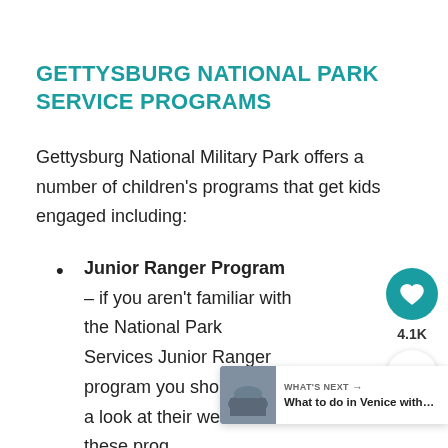GETTYSBURG NATIONAL PARK SERVICE PROGRAMS
Gettysburg National Military Park offers a number of children's programs that get kids engaged including:
Junior Ranger Program – if you aren't familiar with the National Park Services Junior Ranger program you should take a look at their website as these programs are offered throughout the National Pa… Gettysburg, the park provides an activity